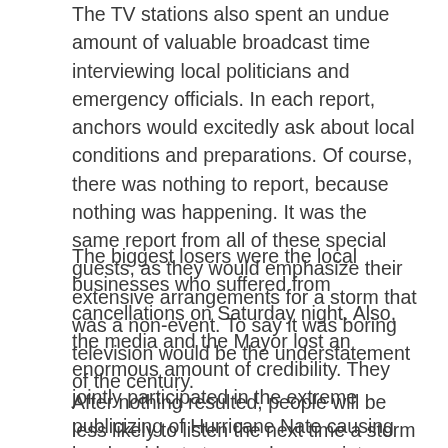The TV stations also spent an undue amount of valuable broadcast time interviewing local politicians and emergency officials. In each report, anchors would excitedly ask about local conditions and preparations. Of course, there was nothing to report, because nothing was happening. It was the same report from all of these special guests, as they would emphasize their extensive arrangements for a storm that was a non-event. To say it was boring television would be the understatement of the century.
The biggest losers were the local businesses who suffered from cancellations on Saturday night. Also, the media and the Mayor lost an enormous amount of credibility. They jointly participated in the extreme publicizing of Hurricane Nate causing local residents tremendous anxiety.
After nothing resulted, people will be less likely to listen the next time a storm approaches. There is a risk that by over-hyping a weak storm, the Mayor and local media will have a